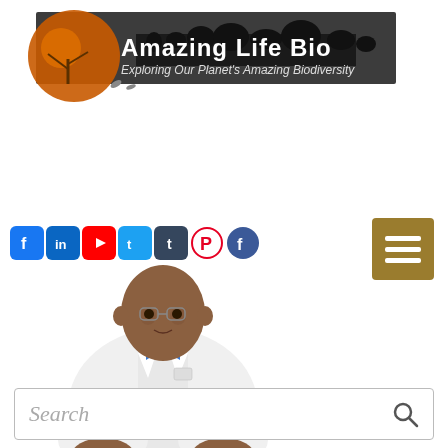[Figure (logo): Amazing Life Bio logo with decorative tree/animals silhouette banner and text 'Amazing Life Bio - Exploring Our Planet's Amazing Biodiversity']
[Figure (infographic): Row of social media icons: Facebook, LinkedIn, YouTube, Twitter, Tumblr, Pinterest, Facebook circle. Plus a gold hamburger menu button on the right.]
[Figure (illustration): 3D illustrated avatar of a man in a white lab coat and blue bow tie, typing at a keyboard]
Search